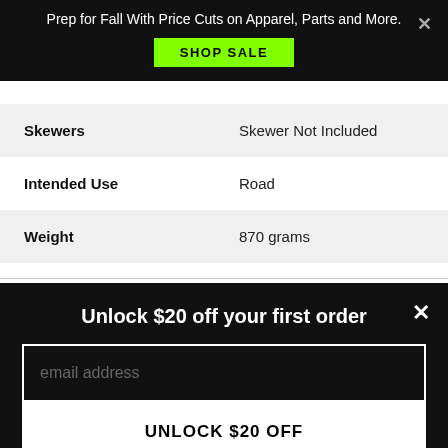Prep for Fall With Price Cuts on Apparel, Parts and More. SHOP SALE
| Attribute | Value |
| --- | --- |
| Skewers | Skewer Not Included |
| Intended Use | Road |
| Weight | 870 grams |
Unlock $20 off your first order
email address
UNLOCK $20 OFF
*Valid for one-time use on new accounts